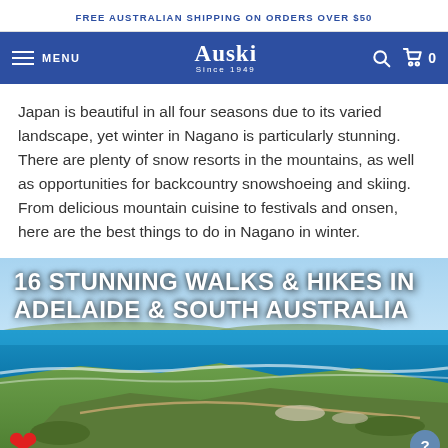FREE AUSTRALIAN SHIPPING ON ORDERS OVER $50
MENU  Auski Since 1949  🔍 🛒 0
Japan is beautiful in all four seasons due to its varied landscape, yet winter in Nagano is particularly stunning. There are plenty of snow resorts in the mountains, as well as opportunities for backcountry snowshoeing and skiing. From delicious mountain cuisine to festivals and onsen, here are the best things to do in Nagano in winter.
[Figure (photo): Coastal landscape photo showing ocean cliff walk with text overlay reading '16 STUNNING WALKS & HIKES IN ADELAIDE & SOUTH AUSTRALIA']